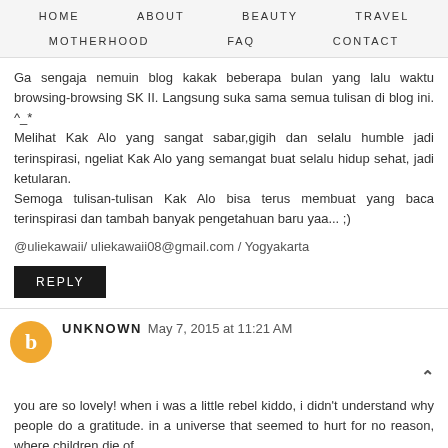HOME   ABOUT   BEAUTY   TRAVEL   MOTHERHOOD   FAQ   CONTACT
Ga sengaja nemuin blog kakak beberapa bulan yang lalu waktu browsing-browsing SK II. Langsung suka sama semua tulisan di blog ini. ^_*
Melihat Kak Alo yang sangat sabar,gigih dan selalu humble jadi terinspirasi, ngeliat Kak Alo yang semangat buat selalu hidup sehat, jadi ketularan.
Semoga tulisan-tulisan Kak Alo bisa terus membuat yang baca terinspirasi dan tambah banyak pengetahuan baru yaa... ;)
@uliekawaii/ uliekawaii08@gmail.com / Yogyakarta
REPLY
UNKNOWN May 7, 2015 at 11:21 AM
you are so lovely! when i was a little rebel kiddo, i didn't understand why people do a gratitude. in a universe that seemed to hurt for no reason, where children die of